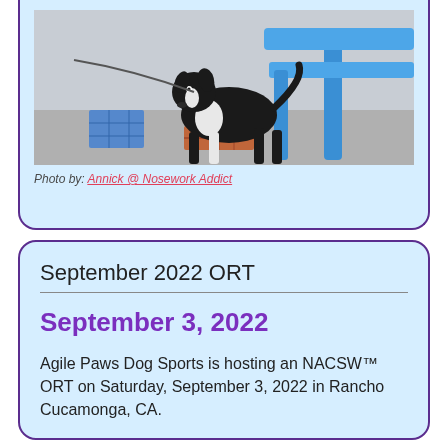[Figure (photo): A black and white border collie dog sniffing near a brick object on pavement, with a blue bench/table structure in the background. Nosework/scent detection activity.]
Photo by: Annick @ Nosework Addict
September 2022 ORT
September 3, 2022
Agile Paws Dog Sports is hosting an NACSW™ ORT on Saturday, September 3, 2022 in Rancho Cucamonga, CA.